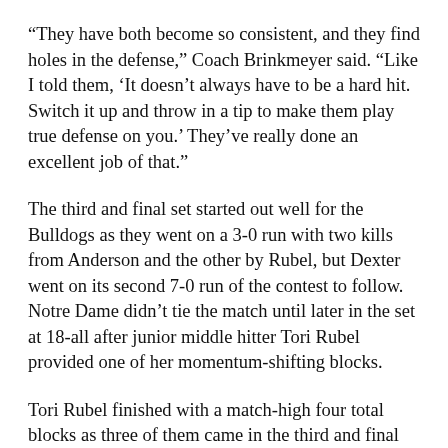“They have both become so consistent, and they find holes in the defense,” Coach Brinkmeyer said. “Like I told them, ‘It doesn’t always have to be a hard hit. Switch it up and throw in a tip to make them play true defense on you.’ They’ve really done an excellent job of that.”
The third and final set started out well for the Bulldogs as they went on a 3-0 run with two kills from Anderson and the other by Rubel, but Dexter went on its second 7-0 run of the contest to follow. Notre Dame didn’t tie the match until later in the set at 18-all after junior middle hitter Tori Rubel provided one of her momentum-shifting blocks.
Tori Rubel finished with a match-high four total blocks as three of them came in the third and final set of the sweep. Rubel leads the Bulldogs with 40 blocks as she’s recorded multiple deflections through 10 games (team-